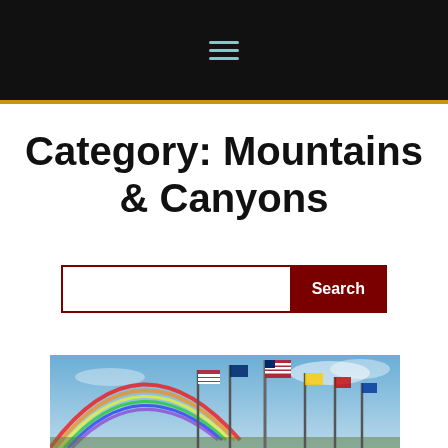Navigation menu (hamburger icon)
Category: Mountains & Canyons
Search
[Figure (photo): A rainbow arcing over a group of flagpoles with various flags including the US flag, set against a blue sky with light clouds.]